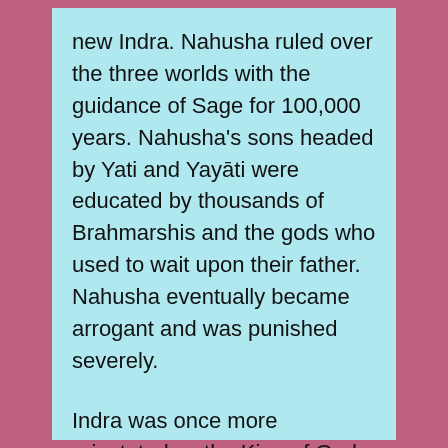new Indra. Nahusha ruled over the three worlds with the guidance of Sage for 100,000 years. Nahusha's sons headed by Yati and Yayāti were educated by thousands of Brahmarshis and the gods who used to wait upon their father. Nahusha eventually became arrogant and was punished severely.
Indra was once more reinstated as the King of Gods. The Mahabharata mentions about Yayati's achievements.
He performed 100 Rajasuyas, 100 Ashwamedhas, 100 Vajapeyas, 1000 Atiratras, 1000 Pundarikas and innumerable